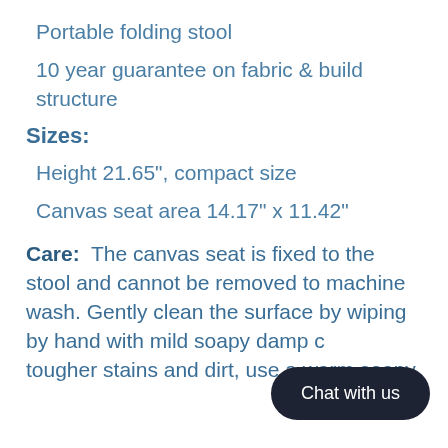Portable folding stool
10 year guarantee on fabric & build structure
Sizes:
Height 21.65", compact size
Canvas seat area 14.17" x 11.42"
Care: The canvas seat is fixed to the stool and cannot be removed to machine wash. Gently clean the surface by wiping by hand with mild soapy damp cloth. For tougher stains and dirt, use a warm soapy
Chat with us